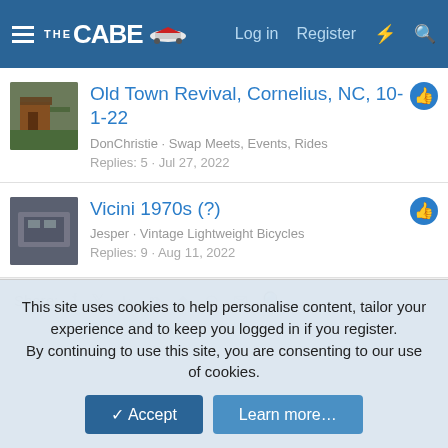THE CABE | Log in | Register
Old Town Revival, Cornelius, NC, 10-1-22
DonChristie · Swap Meets, Events, Rides
Replies: 5 · Jul 27, 2022
Vicini 1970s (?)
Jesper · Vintage Lightweight Bicycles
Replies: 9 · Aug 11, 2022
Share:
This site uses cookies to help personalise content, tailor your experience and to keep you logged in if you register. By continuing to use this site, you are consenting to our use of cookies.